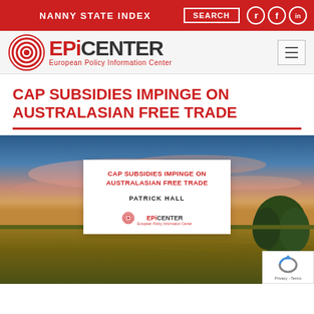NANNY STATE INDEX | SEARCH
[Figure (logo): EPICENTER European Policy Information Center logo with concentric circle target graphic]
CAP SUBSIDIES IMPINGE ON AUSTRALASIAN FREE TRADE
[Figure (photo): Hero image of wheat field under dramatic sunset sky with overlay card reading 'CAP SUBSIDIES IMPINGE ON AUSTRALASIAN FREE TRADE' by PATRICK HALL, EPICENTER logo. reCAPTCHA badge bottom right.]